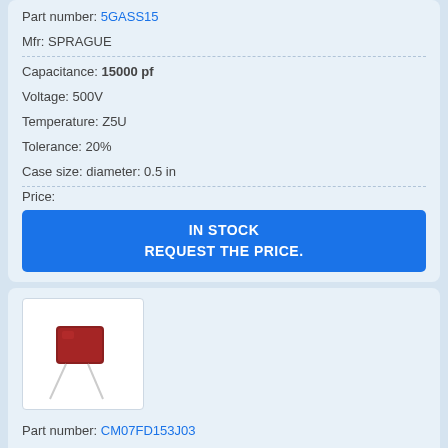Part number: 5GASS15
Mfr: SPRAGUE
Capacitance: 15000 pf
Voltage: 500V
Temperature: Z5U
Tolerance: 20%
Case size: diameter: 0.5 in
Price:
IN STOCK
REQUEST THE PRICE.
[Figure (photo): Photo of a red/brown film capacitor component with two metal leads]
Part number: CM07FD153J03
Mfr: SANGAMO-CDE
Capacitance: 15000 pf
Voltage: 500V
Temperature: -55 °C to +125 °C